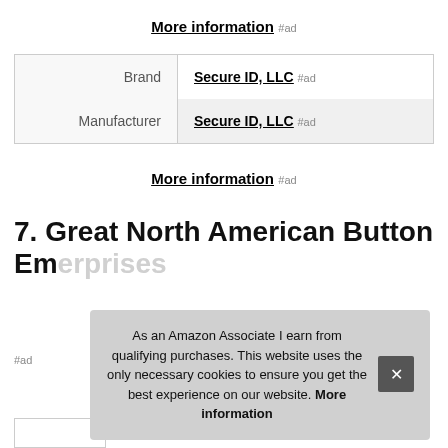More information #ad
| Label | Value |
| --- | --- |
| Brand | Secure ID, LLC #ad |
| Manufacturer | Secure ID, LLC #ad |
More information #ad
7. Great North American Button Em...
As an Amazon Associate I earn from qualifying purchases. This website uses the only necessary cookies to ensure you get the best experience on our website. More information